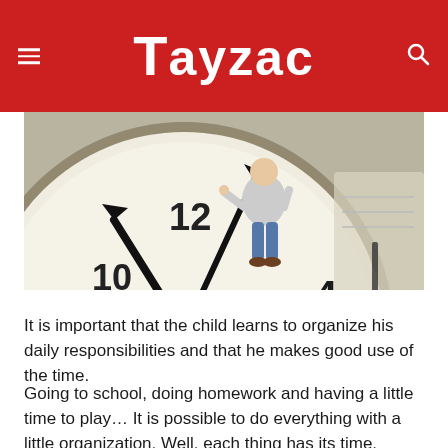Tayzac
[Figure (photo): A person sitting on a large analog clock face with clock hands visible. The clock shows numerals (4, 5, 6 area visible) and the word QUARTZ. A pen and notebook are blurred in the background.]
It is important that the child learns to organize his daily responsibilities and that he makes good use of the time.
Going to school, doing homework and having a little time to play… It is possible to do everything with a little organization. Well, each thing has its time.